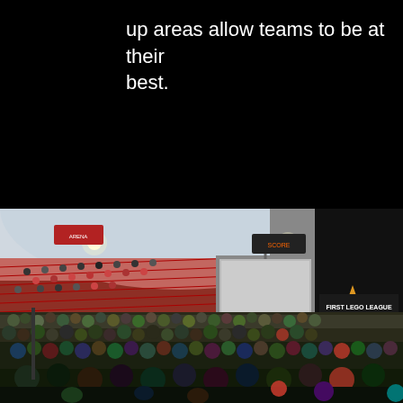up areas allow teams to be at their best.
[Figure (photo): Interior of a large arena/gymnasium filled with a crowd of participants and spectators. Bleachers with red seats are partially filled on the left, a large projection screen hangs from the ceiling in the center, and a sunburst logo banner is visible on the right side. The floor level is packed with people, many appearing to be children or young students.]